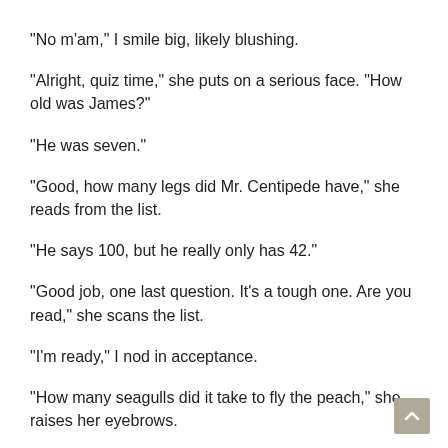"No m'am," I smile big, likely blushing.
"Alright, quiz time," she puts on a serious face. "How old was James?"
"He was seven."
"Good, how many legs did Mr. Centipede have," she reads from the list.
"He says 100, but he really only has 42."
"Good job, one last question. It's a tough one. Are you read," she scans the list.
"I'm ready," I nod in acceptance.
"How many seagulls did it take to fly the peach," she raises her eyebrows.